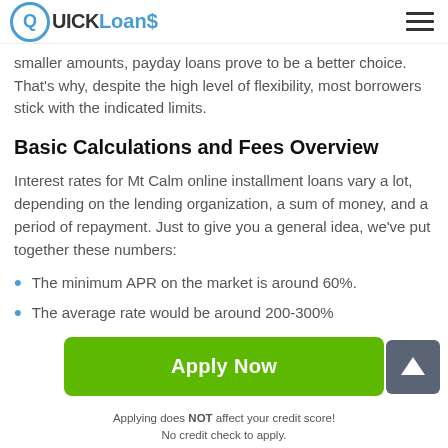QUICK Loans
smaller amounts, payday loans prove to be a better choice. That's why, despite the high level of flexibility, most borrowers stick with the indicated limits.
Basic Calculations and Fees Overview
Interest rates for Mt Calm online installment loans vary a lot, depending on the lending organization, a sum of money, and a period of repayment. Just to give you a general idea, we've put together these numbers:
The minimum APR on the market is around 60%.
The average rate would be around 200-300%
Apply Now
Applying does NOT affect your credit score!
No credit check to apply.